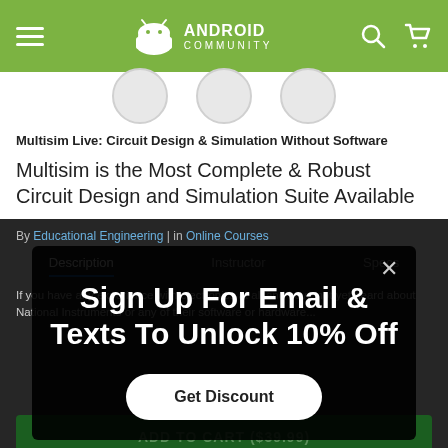[Figure (screenshot): Android Community website header with green background, hamburger menu, Android bot logo, search icon and cart icon]
[Figure (other): Three circular avatar/category icons partially visible below header]
Multisim Live: Circuit Design & Simulation Without Software
Multisim is the Most Complete & Robust Circuit Design and Simulation Suite Available
By Educational Engineering | in Online Courses
Description | Instructor | Specs
Sign Up For Email & Texts To Unlock 10% Off
If you have any experience with electronics at all and have not yet heard about National Instruments or any of their software or hardware...
Get Discount
ADD TO CART ($39.99)